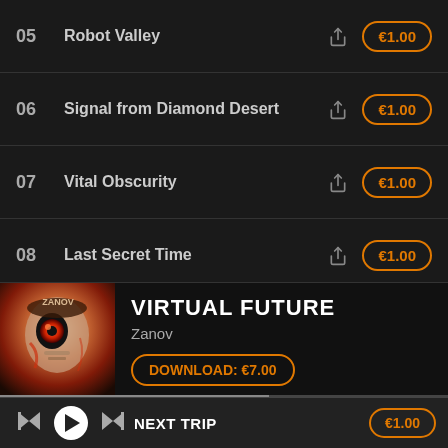05  Robot Valley  €1.00
06  Signal from Diamond Desert  €1.00
07  Vital Obscurity  €1.00
08  Last Secret Time  €1.00
09  Remote Impact  €1.00
[Figure (photo): Album art for Virtual Future by Zanov — robotic face with red and orange tones, ZANOV text visible]
VIRTUAL FUTURE
Zanov
DOWNLOAD: €7.00
NEXT TRIP  €1.00